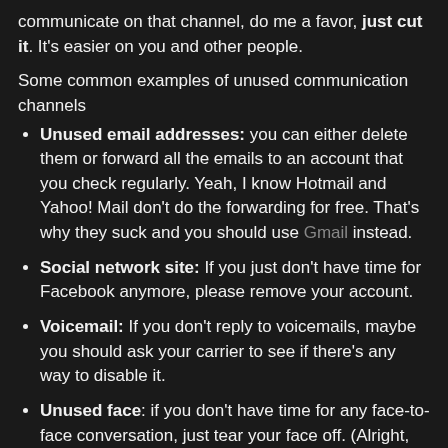communicate on that channel, do me a favor, just cut it. It's easier on you and other people.
Some common examples of unused communication channels
Unused email addresses: you can either delete them or forward all the emails to an account that you check regularly. Yeah, I know Hotmail and Yahoo! Mail don't do the forwarding for free. That's why they suck and you should use Gmail instead.
Social network site: If you just don't have time for Facebook anymore, please remove your account.
Voicemail: If you don't reply to voicemails, maybe you should ask your carrier to see if there's any way to disable it.
Unused face: if you don't have time for any face-to-face conversation, just tear your face off. (Alright, I'm just kidding on this one)
"What if it is a channel that I cannot cut?"